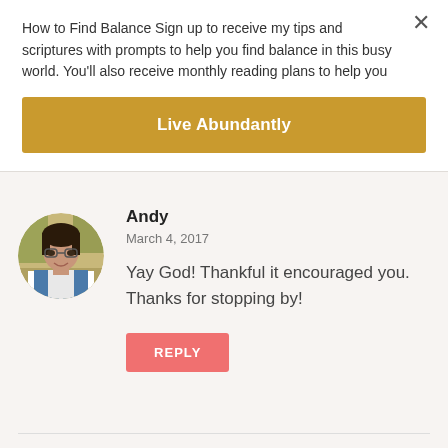How to Find Balance Sign up to receive my tips and scriptures with prompts to help you find balance in this busy world. You’ll also receive monthly reading plans to help you
Live Abundantly
Andy
March 4, 2017
[Figure (photo): Circular avatar photo of a woman with dark hair and glasses wearing a blue denim jacket, outdoors with blurred foliage background.]
Yay God! Thankful it encouraged you. Thanks for stopping by!
REPLY